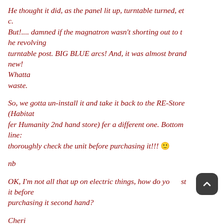He thought it did, as the panel lit up, turntable turned, etc.
But!.... damned if the magnatron wasn't shorting out to the revolving
turntable post. BIG BLUE arcs! And, it was almost brand new!
Whatta
waste.
So, we gotta un-install it and take it back to the RE-Store (Habitat
fer Humanity 2nd hand store) fer a different one. Bottom line:
thoroughly check the unit before purchasing it!!! 🙂
nb
OK, I'm not all that up on electric things, how do you test it before
purchasing it second hand?
Cheri